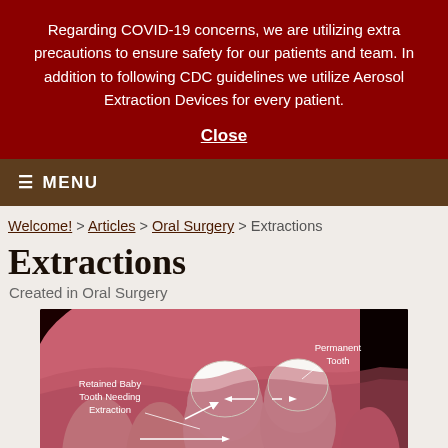Regarding COVID-19 concerns, we are utilizing extra precautions to ensure safety for our patients and team. In addition to following CDC guidelines we utilize Aerosol Extraction Devices for every patient.
Close
≡ MENU
Welcome! > Articles > Oral Surgery > Extractions
Extractions
Created in Oral Surgery
[Figure (illustration): Medical illustration showing a retained baby tooth needing extraction next to a permanent tooth in the gum, with arrows and labels identifying each tooth.]